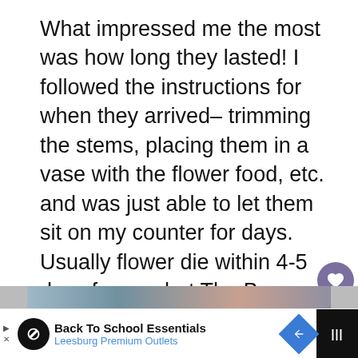What impressed me the most was how long they lasted! I followed the instructions for when they arrived– trimming the stems, placing them in a vase with the flower food, etc. and was just able to let them sit on my counter for days. Usually flower die within 4-5 days for me, but The Bouqs stayed around for just about 2 weeks– awesome! I LOVE that they don't have any fillers, they come fresh from a volcano (how cool) and they la... longer than regular flower delivery
[Figure (screenshot): UI overlay: heart/like button (purple circle with heart icon), count '10', share button (circle with share icon), WHAT'S NEXT arrow label, Bouqs logo thumbnail, text 'The Bouqs: Perfect 4th o...']
[Figure (photo): Partial image strip showing people, partially visible at bottom of article area]
[Figure (screenshot): Advertisement bar: Back To School Essentials, Leesburg Premium Outlets, with infinity-loop icon and blue diamond navigation icon]